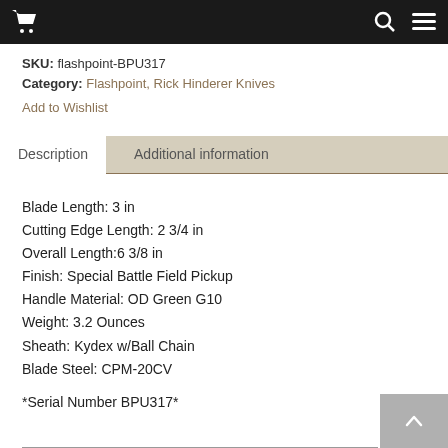Shopping cart, Search, Menu
SKU: flashpoint-BPU317
Category: Flashpoint, Rick Hinderer Knives
Add to Wishlist
Description | Additional information
Blade Length: 3 in
Cutting Edge Length: 2 3/4 in
Overall Length:6 3/8 in
Finish: Special Battle Field Pickup
Handle Material: OD Green G10
Weight: 3.2 Ounces
Sheath: Kydex w/Ball Chain
Blade Steel: CPM-20CV
*Serial Number BPU317*